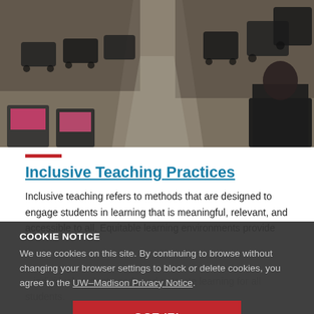[Figure (photo): Classroom scene with students sitting in chairs with computers, viewed from the front of the room showing an aisle between rows of chairs]
Inclusive Teaching Practices
Inclusive teaching refers to methods that are designed to engage students in learning that is meaningful, relevant, and accessible to all. Equitable learning environments provide ... individual student needs and promote learning for all students.
COOKIE NOTICE
We use cookies on this site. By continuing to browse without changing your browser settings to block or delete cookies, you agree to the UW–Madison Privacy Notice.
GOT IT!